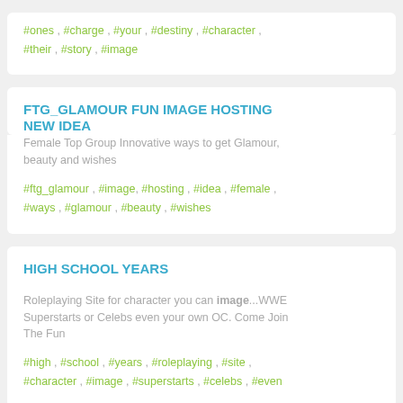#ones , #charge , #your , #destiny , #character , #their , #story , #image
FTG_GLAMOUR FUN IMAGE HOSTING NEW IDEA
Female Top Group Innovative ways to get Glamour, beauty and wishes
#ftg_glamour , #image, #hosting , #idea , #female , #ways , #glamour , #beauty , #wishes
HIGH SCHOOL YEARS
Roleplaying Site for character you can image...WWE Superstarts or Celebs even your own OC. Come Join The Fun
#high , #school , #years , #roleplaying , #site , #character , #image , #superstarts , #celebs , #even